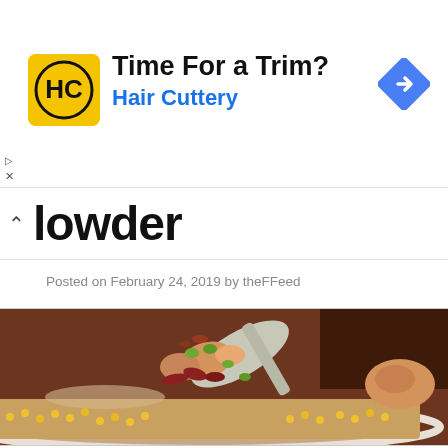[Figure (other): Hair Cuttery advertisement banner with HC logo, 'Time For a Trim?' headline, 'Hair Cuttery' in blue, and a blue navigation arrow icon on the right]
lowder
Posted on February 24, 2019 by theFFeed
[Figure (photo): Close-up photo of a chowder dish in a white bowl with a spoon lifting chunks of chicken, corn, bacon, and green onions in a creamy broth]